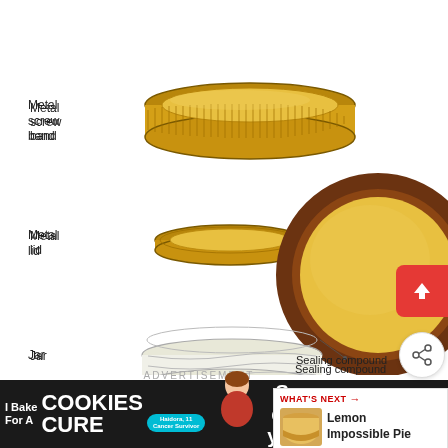[Figure (schematic): Exploded diagram of a canning jar lid assembly showing three components from top to bottom: Metal screw band (gold-colored threaded ring), Metal lid (flat gold disc with sealing compound visible on bottom view), and Jar (glass jar top). A large circular detail view on the right shows the underside of the metal lid with the sealing compound (brown ring around yellow center) labeled with a callout.]
Metal screw band
Metal lid
Jar
Sealing compound
ADVERTISEMENT
WHAT'S NEXT → Lemon Impossible Pie
I Bake COOKIES For A CURE Haidora, 11 Cancer Survivor So can you! cookies for kids cancer